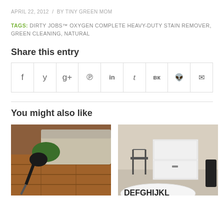APRIL 22, 2012  /  BY TINY GREEN MOM
TAGS: DIRTY JOBS™ OXYGEN COMPLETE HEAVY-DUTY STAIN REMOVER, GREEN CLEANING, NATURAL
Share this entry
[Figure (infographic): Social share buttons row: Facebook, Twitter, Google+, Pinterest, LinkedIn, Tumblr, VK, Reddit, Email]
You might also like
[Figure (photo): Person in green shirt vacuuming under a couch on hardwood floor]
[Figure (photo): Child's play kitchen with alphabet rug showing letters DEFGHIJKL on the floor]